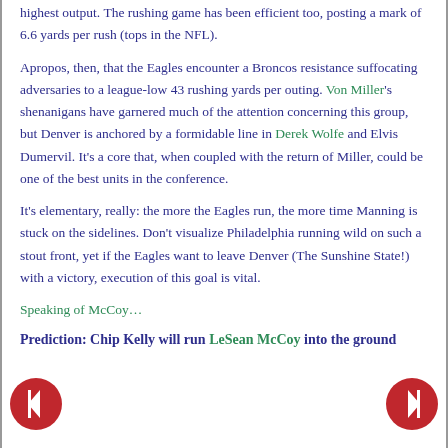highest output. The rushing game has been efficient too, posting a mark of 6.6 yards per rush (tops in the NFL).
Apropos, then, that the Eagles encounter a Broncos resistance suffocating adversaries to a league-low 43 rushing yards per outing. Von Miller's shenanigans have garnered much of the attention concerning this group, but Denver is anchored by a formidable line in Derek Wolfe and Elvis Dumervil. It's a core that, when coupled with the return of Miller, could be one of the best units in the conference.
It's elementary, really: the more the Eagles run, the more time Manning is stuck on the sidelines. Don't visualize Philadelphia running wild on such a stout front, yet if the Eagles want to leave Denver (The Sunshine State!) with a victory, execution of this goal is vital.
Speaking of McCoy…
Prediction: Chip Kelly will run LeSean McCoy into the ground